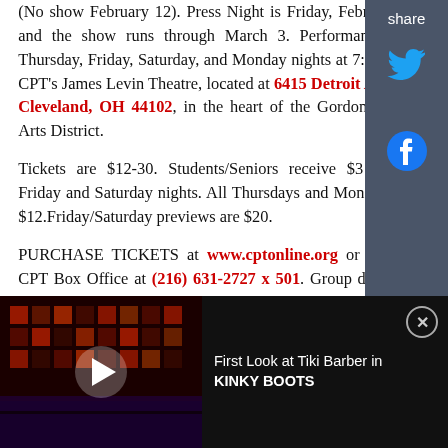(No show February 12). Press Night is Friday, February 16 and the show runs through March 3. Performances are Thursday, Friday, Saturday, and Monday nights at 7:00pm in CPT's James Levin Theatre, located at 6415 Detroit Avenue, Cleveland, OH 44102, in the heart of the Gordon Square Arts District.
Tickets are $12-30. Students/Seniors receive $3 off on Friday and Saturday nights. All Thursdays and Mondays are $12.Friday/Saturday previews are $20.
PURCHASE TICKETS at www.cptonline.org or call the CPT Box Office at (216) 631-2727 x 501. Group discounts are available – call the Box Office to
[Figure (screenshot): Video advertisement thumbnail showing a dark stage set with red lighting for Kinky Boots production, with a play button overlay. Text reads 'First Look at Tiki Barber in KINKY BOOTS' with a close button.]